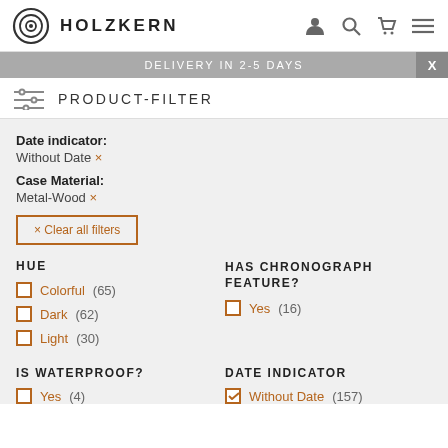HOLZKERN
DELIVERY IN 2-5 DAYS
PRODUCT-FILTER
Date indicator: Without Date ×
Case Material: Metal-Wood ×
× Clear all filters
HUE
Colorful (65)
Dark (62)
Light (30)
HAS CHRONOGRAPH FEATURE?
Yes (16)
IS WATERPROOF?
Yes (4)
DATE INDICATOR
Without Date (157)